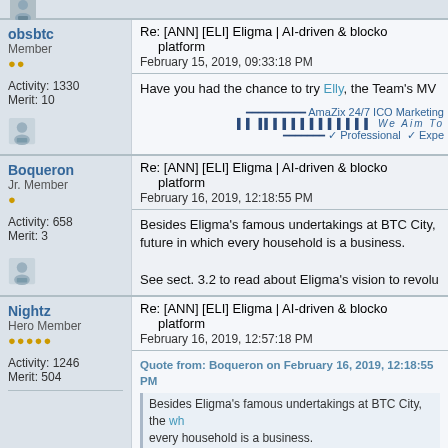[avatar icon]
obsbtc | Member | Activity: 1330 | Merit: 10
Re: [ANN] [ELI] Eligma | AI-driven & blockchain platform
February 15, 2019, 09:33:18 PM
Have you had the chance to try Elly, the Team's MV...
AmaZix 24/7 ICO Marketing... We Aim To... Professional... Expe...
Boqueron | Jr. Member | Activity: 658 | Merit: 3
Re: [ANN] [ELI] Eligma | AI-driven & blockchain platform
February 16, 2019, 12:18:55 PM
Besides Eligma's famous undertakings at BTC City, future in which every household is a business.

See sect. 3.2 to read about Eligma's vision to revolu...
Nightz | Hero Member | Activity: 1246 | Merit: 504
Re: [ANN] [ELI] Eligma | AI-driven & blockchain platform
February 16, 2019, 12:57:18 PM
Quote from: Boqueron on February 16, 2019, 12:18:55 PM
Besides Eligma's famous undertakings at BTC City, the wh... every household is a business.